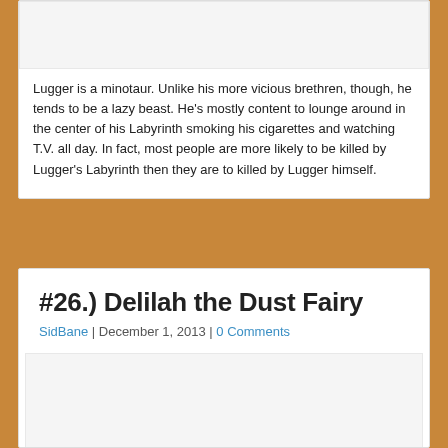[Figure (other): Image placeholder at top of card, light gray rectangle]
Lugger is a minotaur. Unlike his more vicious brethren, though, he tends to be a lazy beast. He’s mostly content to lounge around in the center of his Labyrinth smoking his cigarettes and watching T.V. all day. In fact, most people are more likely to be killed by Lugger’s Labyrinth then they are to killed by Lugger himself.
#26.) Delilah the Dust Fairy
SidBane | December 1, 2013 | 0 Comments
[Figure (other): Image placeholder in second card, light gray rectangle]